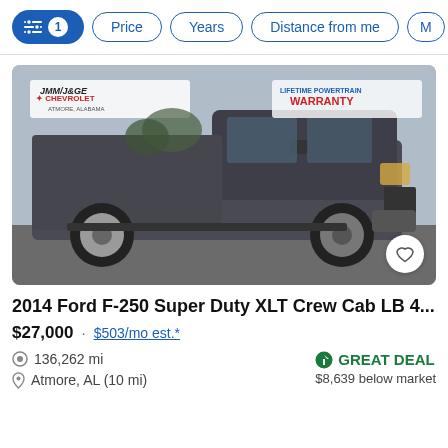Filter controls: [filters icon] 1 | Price | Years | Distance from me | M...
[Figure (photo): Photo of a 2014 Ford F-250 Super Duty pickup truck in gray/dark color, parked at a Chevrolet dealership in Atmore, Alabama. A 'Lifetime Powertrain Warranty' banner is visible in the upper right of the photo.]
2014 Ford F-250 Super Duty XLT Crew Cab LB 4...
$27,000 · $503/mo est.*
136,262 mi
Atmore, AL (10 mi)
GREAT DEAL
$8,639 below market